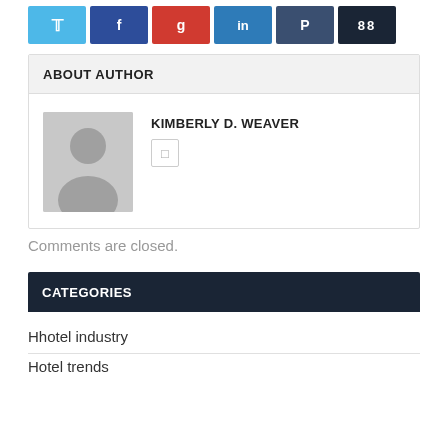[Figure (infographic): Row of six social media share buttons: Twitter (light blue), Facebook (dark blue), Google+ (red), LinkedIn (medium blue), Pinterest (dark slate blue), count display (very dark navy) showing 88]
ABOUT AUTHOR
[Figure (photo): Default grey avatar silhouette placeholder image]
KIMBERLY D. WEAVER
Comments are closed.
CATEGORIES
Hhotel industry
Hotel trends